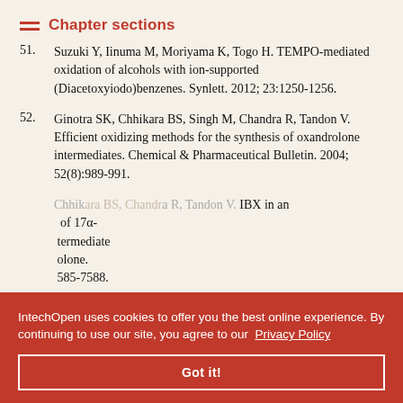Chapter sections
51. Suzuki Y, Iinuma M, Moriyama K, Togo H. TEMPO-mediated oxidation of alcohols with ion-supported (Diacetoxyiodo)benzenes. Synlett. 2012; 23:1250-1256.
52. Ginotra SK, Chhikara BS, Singh M, Chandra R, Tandon V. Efficient oxidizing methods for the synthesis of oxandrolone intermediates. Chemical & Pharmaceutical Bulletin. 2004; 52(8):989-991.
53. Chhikara BS, Chandra R, Tandon V. IBX in an ... of 17α- ... intermediate ... olone. ... 7585-7588.
IntechOpen uses cookies to offer you the best online experience. By continuing to use our site, you agree to our Privacy Policy
Got it!